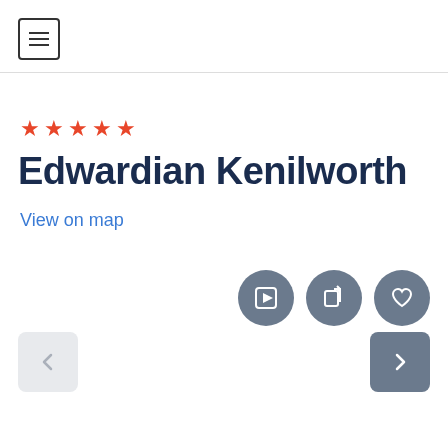[Figure (other): Hamburger menu icon button — square with three horizontal lines]
★★★★★
Edwardian Kenilworth
View on map
[Figure (other): Three circular gray action buttons: play video, share, and save/heart]
[Figure (other): Navigation arrows: left arrow (light gray box, inactive) and right arrow (dark gray box, active)]